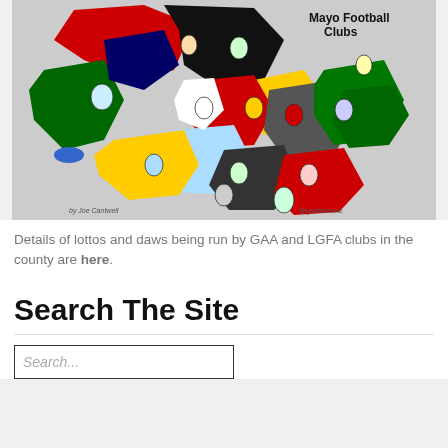[Figure (map): A colorful map of Mayo Football Clubs in County Mayo, Ireland. Each club's territory is shown in a different color with club crests/badges. The map is credited 'by Joe Cantwell' and '@gaofanzone'.]
Details of lottos and daws being run by GAA and LGFA clubs in the county are here.
Search The Site